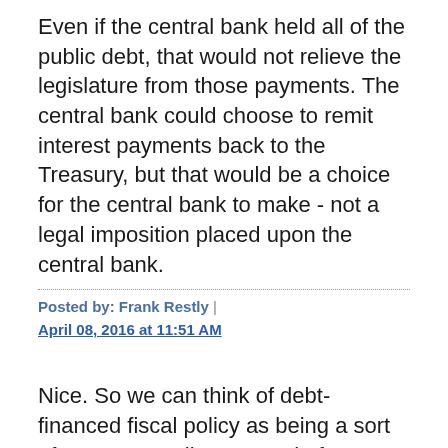Even if the central bank held all of the public debt, that would not relieve the legislature from those payments. The central bank could choose to remit interest payments back to the Treasury, but that would be a choice for the central bank to make - not a legal imposition placed upon the central bank.
Posted by: Frank Restly | April 08, 2016 at 11:51 AM
Nice. So we can think of debt-financed fiscal policy as being a sort of monetary policy. Instead of swapping money for